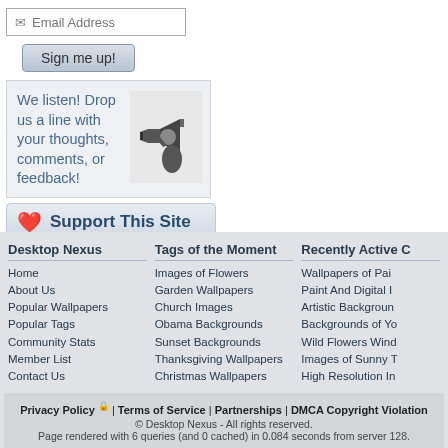[Figure (screenshot): Email address input field with envelope icon]
[Figure (screenshot): Sign me up! button with gray gradient styling]
We listen! Drop us a line with your thoughts, comments, or feedback!
[Figure (photo): Black and white photo of person with megaphone]
[Figure (screenshot): Support This Site button with heart icon]
Desktop Nexus
Home
About Us
Popular Wallpapers
Popular Tags
Community Stats
Member List
Contact Us
Tags of the Moment
Images of Flowers
Garden Wallpapers
Church Images
Obama Backgrounds
Sunset Backgrounds
Thanksgiving Wallpapers
Christmas Wallpapers
Recently Active C
Wallpapers of Pai
Paint And Digital I
Artistic Backgroun
Backgrounds of Yo
Wild Flowers Wind
Images of Sunny T
High Resolution In
Privacy Policy | Terms of Service | Partnerships | DMCA Copyright Violation
© Desktop Nexus - All rights reserved.
Page rendered with 6 queries (and 0 cached) in 0.084 seconds from server 128.